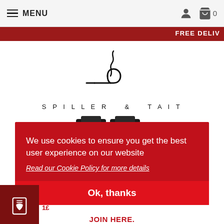MENU
FREE DELIV
[Figure (logo): Spiller & Tait logo: stylized smoke/pipe graphic above text 'SPILLER & TAIT']
[Figure (photo): Two dark matte black product pouches/bags side by side]
We use cookies to ensure you get the best user experience on our website
Read our Cookie Policy for more details
Ok, thanks
JOIN HERE.